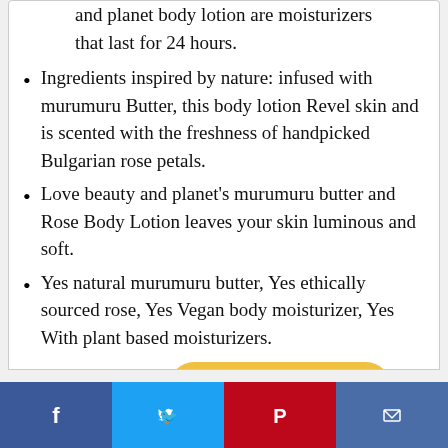and planet body lotion are moisturizers that last for 24 hours.
Ingredients inspired by nature: infused with murumuru Butter, this body lotion Revel skin and is scented with the freshness of handpicked Bulgarian rose petals.
Love beauty and planet’s murumuru butter and Rose Body Lotion leaves your skin luminous and soft.
Yes natural murumuru butter, Yes ethically sourced rose, Yes Vegan body moisturizer, Yes With plant based moisturizers.
[Figure (other): Buy from Amazon button with Amazon logo]
[Figure (other): Social media share bar with Facebook, Twitter, Pinterest, and Email icons]